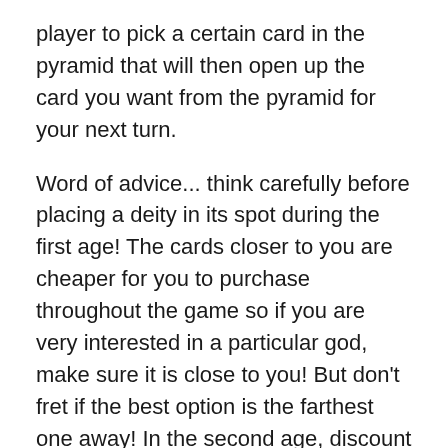player to pick a certain card in the pyramid that will then open up the card you want from the pyramid for your next turn.
Word of advice... think carefully before placing a deity in its spot during the first age! The cards closer to you are cheaper for you to purchase throughout the game so if you are very interested in a particular god, make sure it is close to you! But don't fret if the best option is the farthest one away! In the second age, discount tokens are introduced that allow you to purchase deity cards at a reduced price.
Like 7 Wonders Duel, Pantheon is easy to learn. In my experience, it does add about 10 to 15 minutes to the game making it about 45 minutes from start to finish. A quick read of the short rulebook will prepare you for the